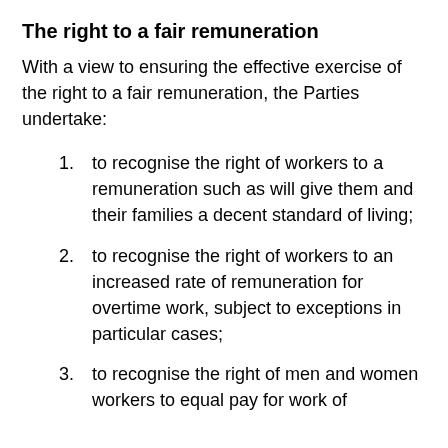The right to a fair remuneration
With a view to ensuring the effective exercise of the right to a fair remuneration, the Parties undertake:
to recognise the right of workers to a remuneration such as will give them and their families a decent standard of living;
to recognise the right of workers to an increased rate of remuneration for overtime work, subject to exceptions in particular cases;
to recognise the right of men and women workers to equal pay for work of